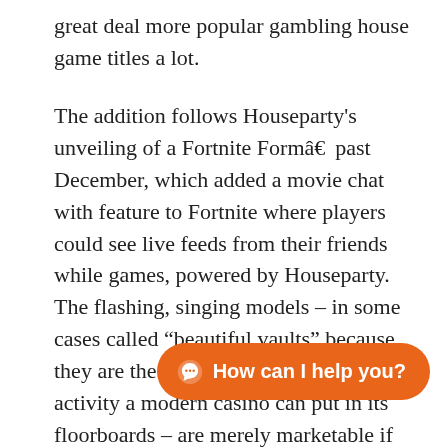great deal more popular gambling house game titles a lot.
The addition follows Houseparty's unveiling of a Fortnite Formâ€ past December, which added a movie chat with feature to Fortnite where players could see live feeds from their friends while games, powered by Houseparty. The flashing, singing models – in some cases called “beautiful vaults” because they are the virtually all profitable activity a modern casino can put in its floorboards – are merely marketable if they can retain a consistent portion of wagers, around approximately 5 percent and 20 percent normally. The tribe said the state passed a rules in 2005 allowing gambling cruises to abandon from the state’s ports, so 5th Carolina should allow same games at a new gambling lounge near Mountain